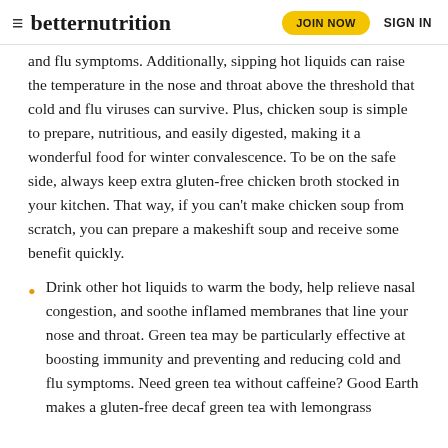≡ betternutrition  JOIN NOW  SIGN IN
and flu symptoms. Additionally, sipping hot liquids can raise the temperature in the nose and throat above the threshold that cold and flu viruses can survive. Plus, chicken soup is simple to prepare, nutritious, and easily digested, making it a wonderful food for winter convalescence. To be on the safe side, always keep extra gluten-free chicken broth stocked in your kitchen. That way, if you can't make chicken soup from scratch, you can prepare a makeshift soup and receive some benefit quickly.
Drink other hot liquids to warm the body, help relieve nasal congestion, and soothe inflamed membranes that line your nose and throat. Green tea may be particularly effective at boosting immunity and preventing and reducing cold and flu symptoms. Need green tea without caffeine? Good Earth makes a gluten-free decaf green tea with lemongrass